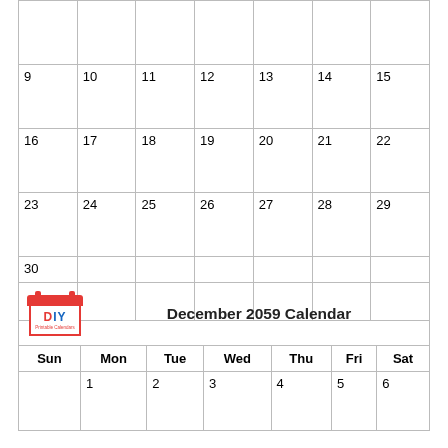|  |  |  |  |  |  |  |
| 9 | 10 | 11 | 12 | 13 | 14 | 15 |
| 16 | 17 | 18 | 19 | 20 | 21 | 22 |
| 23 | 24 | 25 | 26 | 27 | 28 | 29 |
| 30 |  |  |  |  |  |  |
December 2059 Calendar
| Sun | Mon | Tue | Wed | Thu | Fri | Sat |
| --- | --- | --- | --- | --- | --- | --- |
|  | 1 | 2 | 3 | 4 | 5 | 6 |